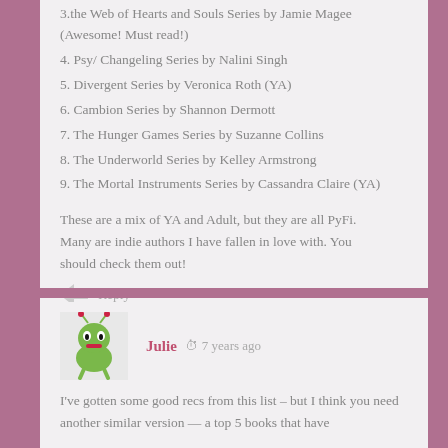3.the Web of Hearts and Souls Series by Jamie Magee (Awesome! Must read!)
4. Psy/ Changeling Series by Nalini Singh
5. Divergent Series by Veronica Roth (YA)
6. Cambion Series by Shannon Dermott
7. The Hunger Games Series by Suzanne Collins
8. The Underworld Series by Kelley Armstrong
9. The Mortal Instruments Series by Cassandra Claire (YA)
These are a mix of YA and Adult, but they are all PyFi. Many are indie authors I have fallen in love with. You should check them out!
Reply
Julie  7 years ago
I've gotten some good recs from this list – but I think you need another similar version — a top 5 books that have